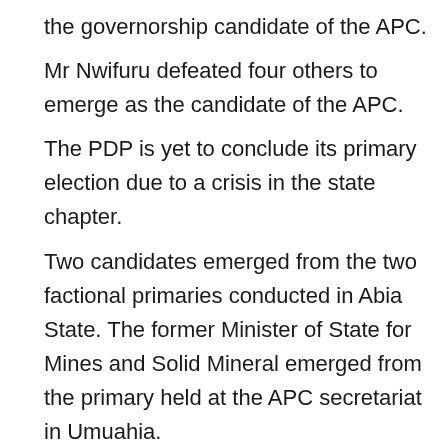the governorship candidate of the APC. Mr Nwifuru defeated four others to emerge as the candidate of the APC. The PDP is yet to conclude its primary election due to a crisis in the state chapter. Two candidates emerged from the two factional primaries conducted in Abia State. The former Minister of State for Mines and Solid Mineral emerged from the primary held at the APC secretariat in Umuahia. On the other hand, Ikachi Emenike emerged as the candidate in the other election. However, hours after the election, Mr Emenike was disqualified by the court for lacking the basis to contest the